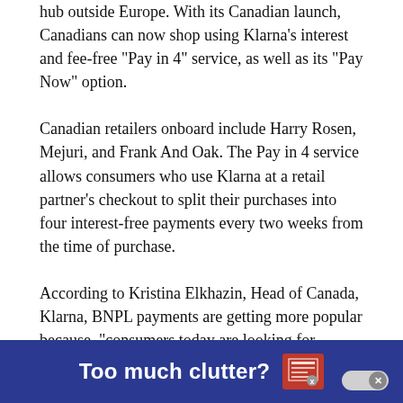hub outside Europe. With its Canadian launch, Canadians can now shop using Klarna’s interest and fee-free “Pay in 4” service, as well as its “Pay Now” option.
Canadian retailers onboard include Harry Rosen, Mejuri, and Frank And Oak. The Pay in 4 service allows consumers who use Klarna at a retail partner’s checkout to split their purchases into four interest-free payments every two weeks from the time of purchase.
According to Kristina Elkhazin, Head of Canada, Klarna, BNPL payments are getting more popular because, “consumers today are looking for
[Figure (infographic): Dark blue banner ad at bottom of page reading 'Too much clutter?' with a newspaper/document icon in red and a close button (x) on the right.]